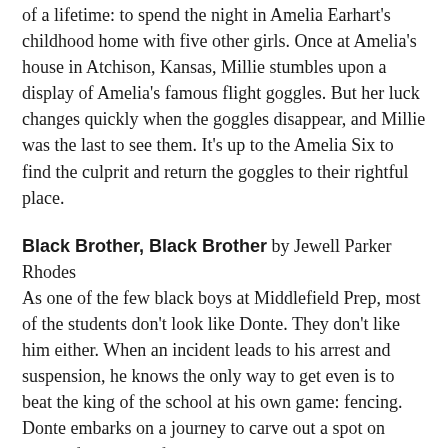of a lifetime: to spend the night in Amelia Earhart's childhood home with five other girls. Once at Amelia's house in Atchison, Kansas, Millie stumbles upon a display of Amelia's famous flight goggles. But her luck changes quickly when the goggles disappear, and Millie was the last to see them. It's up to the Amelia Six to find the culprit and return the goggles to their rightful place.
Black Brother, Black Brother by Jewell Parker Rhodes As one of the few black boys at Middlefield Prep, most of the students don't look like Donte. They don't like him either. When an incident leads to his arrest and suspension, he knows the only way to get even is to beat the king of the school at his own game: fencing. Donte embarks on a journey to carve out a spot on Middlefield Prep's fencing team and maybe learn something about himself along the way.
Charlie & Frog by Karen Kane Charlie heads into the village where an old woman gives